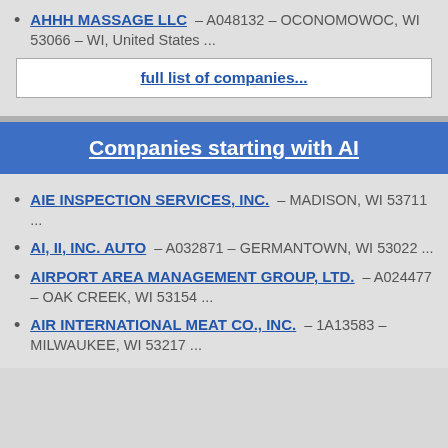AHHH MASSAGE LLC – A048132 – OCONOMOWOC, WI 53066 – WI, United States ...
full list of companies...
Companies starting with AI
AIE INSPECTION SERVICES, INC. – MADISON, WI 53711 ...
AI, II, INC. AUTO – A032871 – GERMANTOWN, WI 53022 ...
AIRPORT AREA MANAGEMENT GROUP, LTD. – A024477 – OAK CREEK, WI 53154 ...
AIR INTERNATIONAL MEAT CO., INC. – 1A13583 – MILWAUKEE, WI 53217 ...